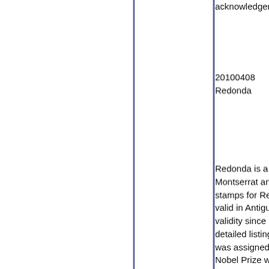acknowledgeme
20100408
Redonda
Redonda is a 0.
Montserrat and
stamps for Red
valid in Antigua
validity since Re
detailed listings
was assigned p
Nobel Prize win
Rod222, Great
Some correctio
the
UK in 1872 and
read and found
Redonda